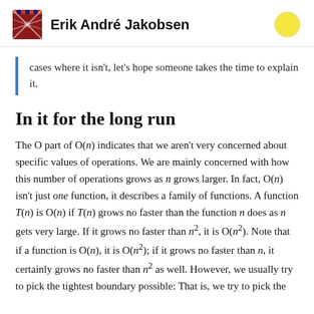Erik André Jakobsen
cases where it isn't, let's hope someone takes the time to explain it.
In it for the long run
The O part of O(n) indicates that we aren't very concerned about specific values of operations. We are mainly concerned with how this number of operations grows as n grows larger. In fact, O(n) isn't just one function, it describes a family of functions. A function T(n) is O(n) if T(n) grows no faster than the function n does as n gets very large. If it grows no faster than n², it is O(n²). Note that if a function is O(n), it is O(n²); if it grows no faster than n, it certainly grows no faster than n² as well. However, we usually try to pick the tightest boundary possible: That is, we try to pick the